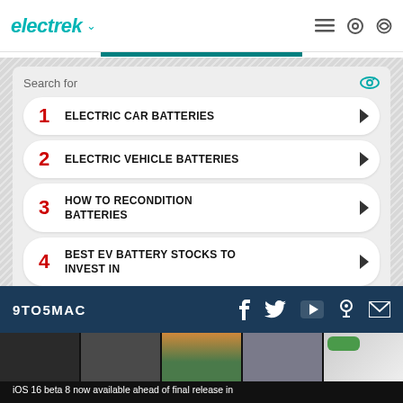electrek
[Figure (screenshot): Search widget with 5 sponsored search results: 1. ELECTRIC CAR BATTERIES, 2. ELECTRIC VEHICLE BATTERIES, 3. HOW TO RECONDITION BATTERIES, 4. BEST EV BATTERY STOCKS TO INVEST IN, 5. LITHIUM BATTERY PRICES. Ad label with Local text.]
9TO5MAC — iOS 16 beta 8 now available ahead of final release in